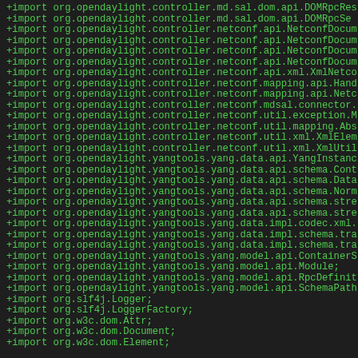+import org.opendaylight.controller.md.sal.dom.api.DOMRpcRes
+import org.opendaylight.controller.md.sal.dom.api.DOMRpcSe
+import org.opendaylight.controller.netconf.api.NetconfDocum
+import org.opendaylight.controller.netconf.api.NetconfDocum
+import org.opendaylight.controller.netconf.api.NetconfDocum
+import org.opendaylight.controller.netconf.api.NetconfDocum
+import org.opendaylight.controller.netconf.api.xml.XmlNetco
+import org.opendaylight.controller.netconf.mapping.api.Hand
+import org.opendaylight.controller.netconf.mapping.api.Netc
+import org.opendaylight.controller.netconf.mdsal.connector.
+import org.opendaylight.controller.netconf.util.exception.M
+import org.opendaylight.controller.netconf.util.mapping.Abs
+import org.opendaylight.controller.netconf.util.xml.XmlElem
+import org.opendaylight.controller.netconf.util.xml.XmlUtil
+import org.opendaylight.yangtools.yang.data.api.YangInstanc
+import org.opendaylight.yangtools.yang.data.api.schema.Cont
+import org.opendaylight.yangtools.yang.data.api.schema.Data
+import org.opendaylight.yangtools.yang.data.api.schema.Norm
+import org.opendaylight.yangtools.yang.data.api.schema.stre
+import org.opendaylight.yangtools.yang.data.api.schema.stre
+import org.opendaylight.yangtools.yang.data.impl.codec.xml.
+import org.opendaylight.yangtools.yang.data.impl.schema.tra
+import org.opendaylight.yangtools.yang.data.impl.schema.tra
+import org.opendaylight.yangtools.yang.model.api.ContainerS
+import org.opendaylight.yangtools.yang.model.api.Module;
+import org.opendaylight.yangtools.yang.model.api.RpcDefinit
+import org.opendaylight.yangtools.yang.model.api.SchemaPath
+import org.slf4j.Logger;
+import org.slf4j.LoggerFactory;
+import org.w3c.dom.Attr;
+import org.w3c.dom.Document;
+import org.w3c.dom.Element;